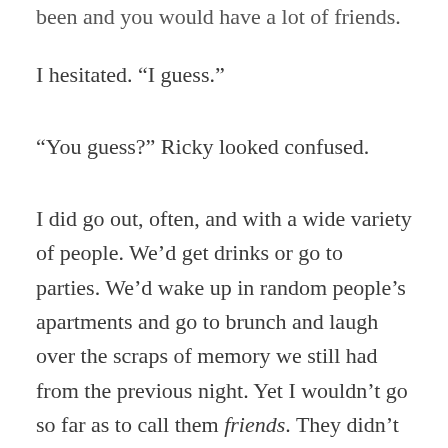been and you would have a lot of friends.
I hesitated. “I guess.”
“You guess?” Ricky looked confused.
I did go out, often, and with a wide variety of people. We’d get drinks or go to parties. We’d wake up in random people’s apartments and go to brunch and laugh over the scraps of memory we still had from the previous night. Yet I wouldn’t go so far as to call them friends. They didn’t know much about my life or my personality outside of my indulgent social lifestyle. When my grandmother had gotten sick, I had no one to tell